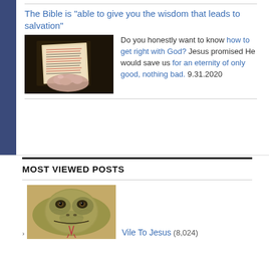The Bible is "able to give you the wisdom that leads to salvation"
[Figure (photo): A hand holding open a Bible with red and black text visible on the pages, photographed in low light]
Do you honestly want to know how to get right with God? Jesus promised He would save us for an eternity of only good, nothing bad. 9.31.2020
MOST VIEWED POSTS
[Figure (photo): Close-up photograph of a rattlesnake or similar snake facing the camera with tongue extended]
Vile To Jesus (8,024)